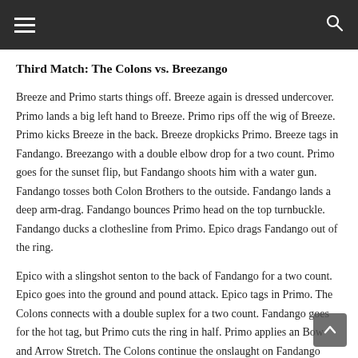☰  🔍
Third Match: The Colons vs. Breezango
Breeze and Primo starts things off. Breeze again is dressed undercover. Primo lands a big left hand to Breeze. Primo rips off the wig of Breeze. Primo kicks Breeze in the back. Breeze dropkicks Primo. Breeze tags in Fandango. Breezango with a double elbow drop for a two count. Primo goes for the sunset flip, but Fandango shoots him with a water gun. Fandango tosses both Colon Brothers to the outside. Fandango lands a deep arm-drag. Fandango bounces Primo head on the top turnbuckle. Fandango ducks a clothesline from Primo. Epico drags Fandango out of the ring.
Epico with a slingshot senton to the back of Fandango for a two count. Epico goes into the ground and pound attack. Epico tags in Primo. The Colons connects with a double suplex for a two count. Fandango goes for the hot tag, but Primo cuts the ring in half. Primo applies an Bow and Arrow Stretch. The Colons continue the onslaught on Fandango with double back suplex...